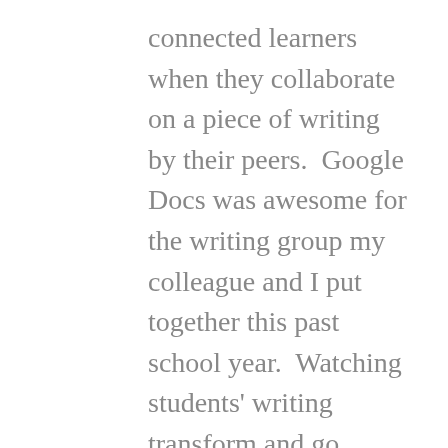connected learners when they collaborate on a piece of writing by their peers.  Google Docs was awesome for the writing group my colleague and I put together this past school year.  Watching students' writing transform and go through the entire writing process is amazing.  The finished product is no doubt better with Google Docs because of the collaboration amongst students.
3. Digital Citizenship – To me this one term brings everything into focus for